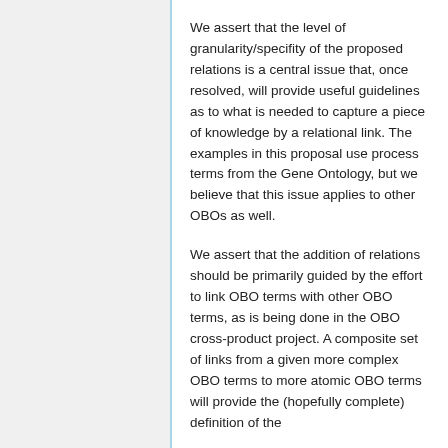We assert that the level of granularity/specifity of the proposed relations is a central issue that, once resolved, will provide useful guidelines as to what is needed to capture a piece of knowledge by a relational link. The examples in this proposal use process terms from the Gene Ontology, but we believe that this issue applies to other OBOs as well.
We assert that the addition of relations should be primarily guided by the effort to link OBO terms with other OBO terms, as is being done in the OBO cross-product project. A composite set of links from a given more complex OBO terms to more atomic OBO terms will provide the (hopefully complete) definition of the